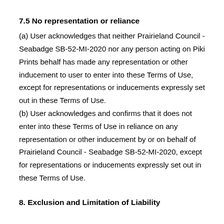7.5 No representation or reliance
(a) User acknowledges that neither Prairieland Council - Seabadge SB-52-MI-2020 nor any person acting on Piki Prints behalf has made any representation or other inducement to user to enter into these Terms of Use, except for representations or inducements expressly set out in these Terms of Use.
(b) User acknowledges and confirms that it does not enter into these Terms of Use in reliance on any representation or other inducement by or on behalf of Prairieland Council - Seabadge SB-52-MI-2020, except for representations or inducements expressly set out in these Terms of Use.
8. Exclusion and Limitation of Liability